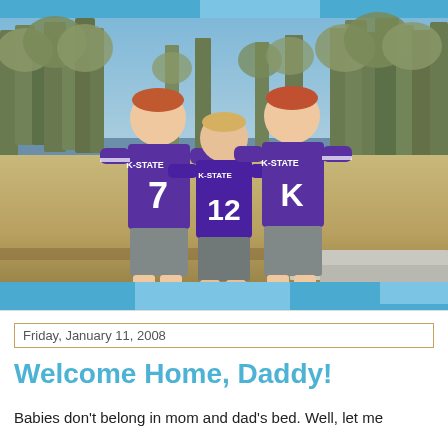[Figure (photo): Three young boys wearing purple K-State football jerseys (numbers 7, 12, and another) standing together outdoors in a grassy/field area with trees in the background.]
Friday, January 11, 2008
Welcome Home, Daddy!
Babies don't belong in mom and dad's bed. Well, let me